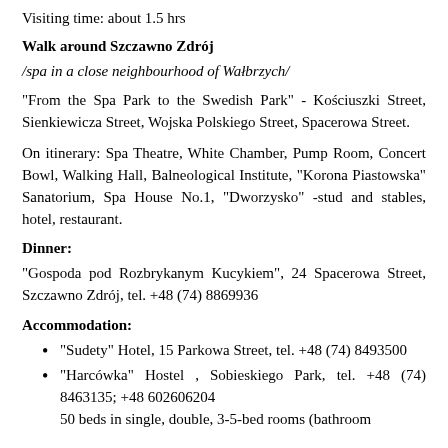Visiting time: about 1.5 hrs
Walk around Szczawno Zdrój
/spa in a close neighbourhood of Wałbrzych/
"From the Spa Park to the Swedish Park" - Kościuszki Street, Sienkiewicza Street, Wojska Polskiego Street, Spacerowa Street.
On itinerary: Spa Theatre, White Chamber, Pump Room, Concert Bowl, Walking Hall, Balneological Institute, "Korona Piastowska" Sanatorium, Spa House No.1, "Dworzysko" -stud and stables, hotel, restaurant.
Dinner:
"Gospoda pod Rozbrykanym Kucykiem", 24 Spacerowa Street, Szczawno Zdrój, tel. +48 (74) 8869936
Accommodation:
"Sudety" Hotel, 15 Parkowa Street, tel. +48 (74) 8493500
"Harcówka" Hostel , Sobieskiego Park, tel. +48 (74) 8463135; +48 602606204
50 beds in single, double, 3-5-bed rooms (bathroom